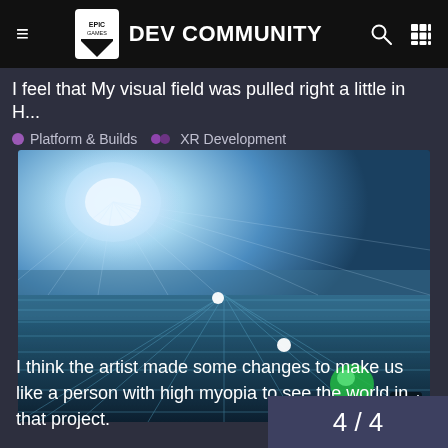EPIC GAMES DEV COMMUNITY
I feel that My visual field was pulled right a little in H...
Platform & Builds   XR Development
[Figure (screenshot): A 3D rendered scene showing a blurred/myopic view with bright light source in upper left, grid lines on floor, white dots and a green object, suggesting a high-myopia visual simulation in a game engine.]
I think the artist made some changes to make us like a person with high myopia to see the world in that project.
4 / 4